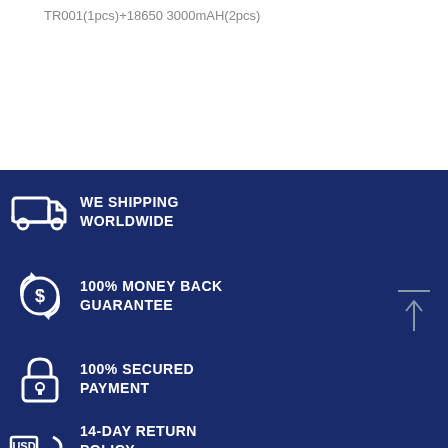TR001(1pcs)+18650 3000mAH(2pcs)
[Figure (infographic): Dark blue banner with four feature icons and text: WE SHIPPING WORLDWIDE, 100% MONEY BACK GUARANTEE, 100% SECURED PAYMENT, 14-DAY RETURN POLICY]
WE SHIPPING WORLDWIDE
100% MONEY BACK GUARANTEE
100% SECURED PAYMENT
14-DAY RETURN POLICY